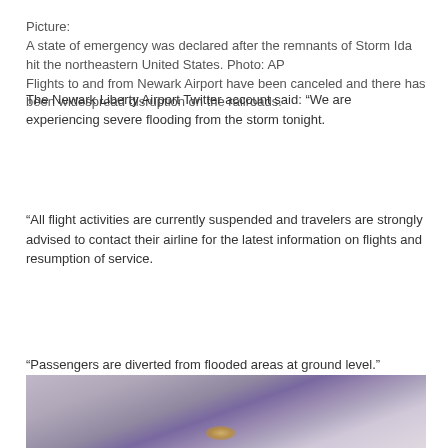Picture:
A state of emergency was declared after the remnants of Storm Ida hit the northeastern United States. Photo: AP
Flights to and from Newark Airport have been canceled and there has been widespread disruption on the railroads.
The Newark Liberty Airport Twitter account said: “We are experiencing severe flooding from the storm tonight.
“All flight activities are currently suspended and travelers are strongly advised to contact their airline for the latest information on flights and resumption of service.
“Passengers are diverted from flooded areas at ground level.”
[Figure (photo): A flooded area or tunnel scene with water, a purple/violet hue, and a small amber/orange light glow visible at ground level, representing flooding caused by Storm Ida.]